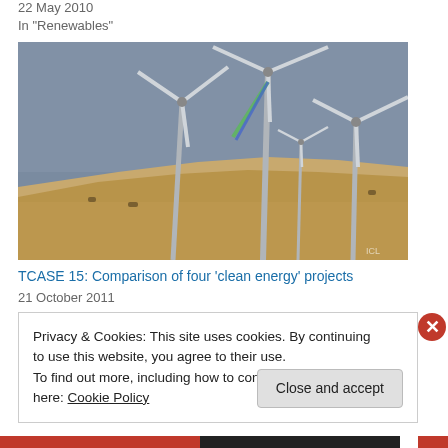22 May 2010
In "Renewables"
[Figure (photo): Wind turbines on a sandy hillside under a blue-grey sky, with a green and blue streak suggesting motion on one turbine blade]
TCASE 15: Comparison of four ‘clean energy’ projects
21 October 2011
Privacy & Cookies: This site uses cookies. By continuing to use this website, you agree to their use.
To find out more, including how to control cookies, see here: Cookie Policy
Close and accept